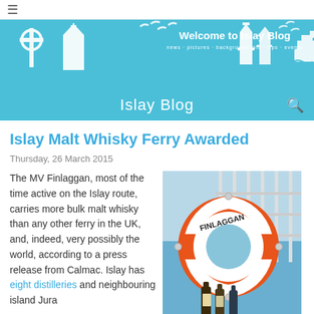☰
[Figure (illustration): Islay Blog banner with teal/cyan background featuring white silhouette icons of Celtic cross, church, lighthouse, birds, and a ferry boat. Center text reads 'Welcome to Islay Blog' with subtitle 'news · pictures · background info · tips · events']
Islay Blog
Islay Malt Whisky Ferry Awarded
Thursday, 26 March 2015
The MV Finlaggan, most of the time active on the Islay route, carries more bulk malt whisky than any other ferry in the UK, and, indeed, very possibly the world, according to a press release from Calmac. Islay has eight distilleries and neighbouring island Jura
[Figure (photo): Photo of an orange and white life ring/life buoy with 'FINLAGGAN' text on it, mounted on white ferry railings, with bottles of whisky visible below and blue sea in the background]